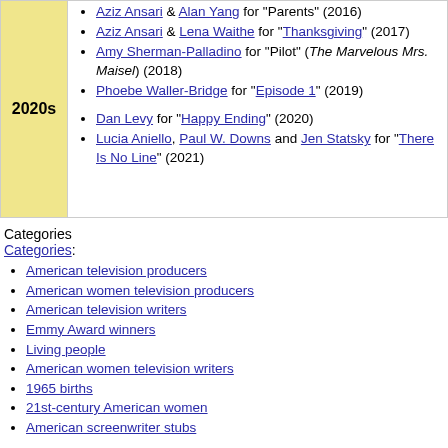Aziz Ansari & Alan Yang for "Parents" (2016)
Aziz Ansari & Lena Waithe for "Thanksgiving" (2017)
Amy Sherman-Palladino for "Pilot" (The Marvelous Mrs. Maisel) (2018)
Phoebe Waller-Bridge for "Episode 1" (2019)
Dan Levy for "Happy Ending" (2020)
Lucia Aniello, Paul W. Downs and Jen Statsky for "There Is No Line" (2021)
Categories
Categories:
American television producers
American women television producers
American television writers
Emmy Award winners
Living people
American women television writers
1965 births
21st-century American women
American screenwriter stubs